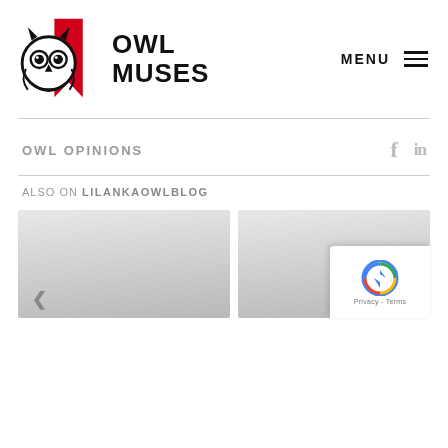[Figure (logo): Owl Muses logo with owl illustration and bold text OWL MUSES]
MENU ☰
OWL OPINIONS
f  in
ALSO ON LILANKAOWLBLOG
[Figure (photo): Two thumbnail image placeholders shown side by side, gray gradient rectangles]
[Figure (other): reCAPTCHA badge with Privacy - Terms text]